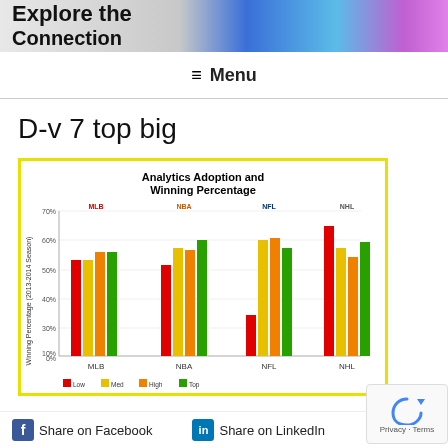Explore the Connection
≡ Menu
D-v 7 top big
[Figure (grouped-bar-chart): Analytics Adoption and Winning Percentage]
Share on Facebook
Share on LinkedIn